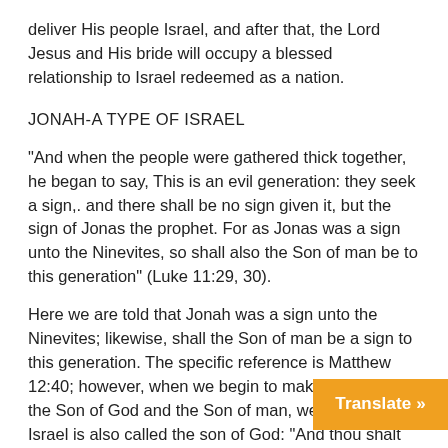deliver His people Israel, and after that, the Lord Jesus and His bride will occupy a blessed relationship to Israel redeemed as a nation.
JONAH-A TYPE OF ISRAEL
“And when the people were gathered thick together, he began to say, This is an evil generation: they seek a sign,. and there shall be no sign given it, but the sign of Jonas the prophet. For as Jonas was a sign unto the Ninevites, so shall also the Son of man be to this generation” (Luke 11:29, 30).
Here we are told that Jonah was a sign unto the Ninevites; likewise, shall the Son of man be a sign to this generation. The specific reference is Matthew 12:40; however, when we begin to make a study of the Son of God and the Son of man, we find that Israel is also called the son of God: “And thou shalt say unto Pharaoh, Thus saith the Lord, Israel is my son, even my firstborn: And I say unto thee, Let my son go, that he may serve me: and if thou refuse to let… will slay thy son, even thy firstborn” (Exodu…